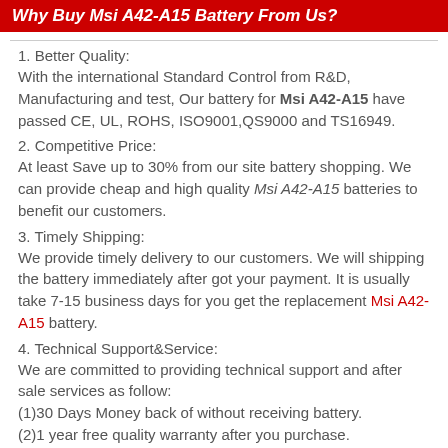Why Buy Msi A42-A15 Battery From Us?
1. Better Quality:
With the international Standard Control from R&D, Manufacturing and test, Our battery for Msi A42-A15 have passed CE, UL, ROHS, ISO9001,QS9000 and TS16949.
2. Competitive Price:
At least Save up to 30% from our site battery shopping. We can provide cheap and high quality Msi A42-A15 batteries to benefit our customers.
3. Timely Shipping:
We provide timely delivery to our customers. We will shipping the battery immediately after got your payment. It is usually take 7-15 business days for you get the replacement Msi A42-A15 battery.
4. Technical Support&Service:
We are committed to providing technical support and after sale services as follow:
(1)30 Days Money back of without receiving battery.
(2)1 year free quality warranty after you purchase.
(3)Fast shipping and tax to worldwide.